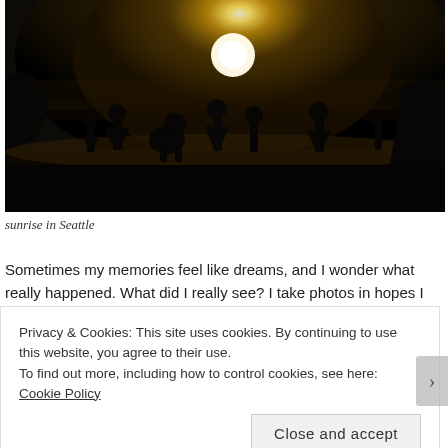[Figure (photo): A dark silhouetted landscape photo showing people as silhouettes against a bright glowing sun or light source in a hazy, misty sky. The scene is very dark overall with warm golden light emanating from the center-upper area.]
sunrise in Seattle
Sometimes my memories feel like dreams, and I wonder what really happened. What did I really see? I take photos in hopes I might be able to make sense of it all later. I look back at my photos to be sure
Privacy & Cookies: This site uses cookies. By continuing to use this website, you agree to their use.
To find out more, including how to control cookies, see here: Cookie Policy
Close and accept